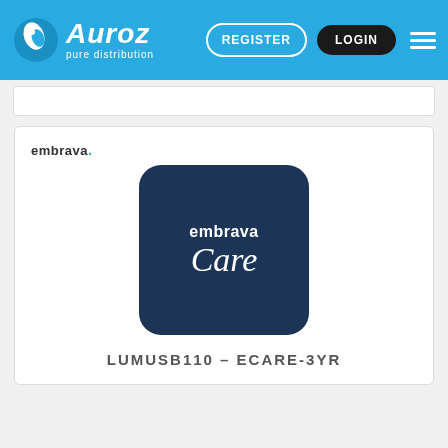Auroz pure distribution — REGISTER LOGIN
[Figure (logo): Embrava brand logo text with dot]
[Figure (illustration): Dark navy rounded square badge with embrava Care text in white]
LUMUSB110 – ECARE-3YR